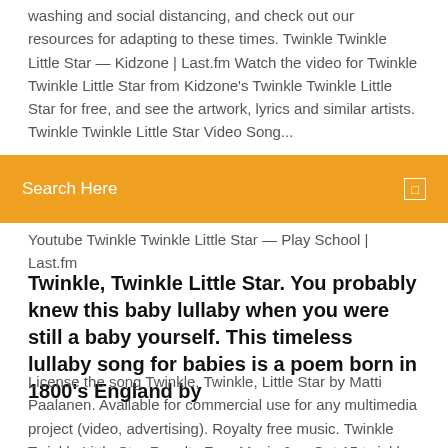washing and social distancing, and check out our resources for adapting to these times. Twinkle Twinkle Little Star — Kidzone | Last.fm Watch the video for Twinkle Twinkle Little Star from Kidzone's Twinkle Twinkle Little Star for free, and see the artwork, lyrics and similar artists. Twinkle Twinkle Little Star Video Song...
[Figure (other): Orange search bar with text 'Search Here' and a small search icon on the right]
Youtube Twinkle Twinkle Little Star — Play School | Last.fm
Twinkle, Twinkle Little Star. You probably knew this baby lullaby when you were still a baby yourself. This timeless lullaby song for babies is a poem born in 1800's England by
License the song Twinkle, Twinkle, Little Star by Matti Paalanen. Available for commercial use for any multimedia project (video, advertising). Royalty free music. Twinkle Twinkle Little Star Royalty Free Music & ... Get 15 twinkle twinkle little star royalty